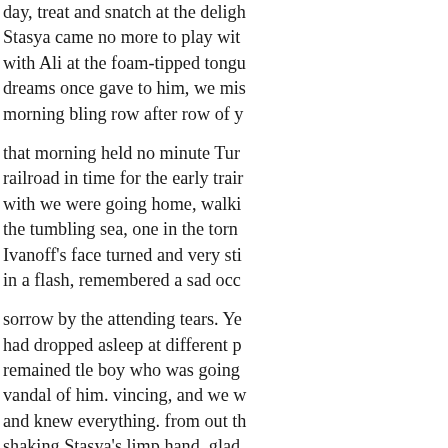day, treat and snatch at the deligh Stasya came no more to play wit with Ali at the foam-tipped tongu dreams once gave to him, we mi morning bling row after row of y that morning held no minute Tur railroad in time for the early trai with we were going home, walki the tumbling sea, one in the torn Ivanoff's face turned and very sti in a flash, remembered a sad occ sorrow by the attending tears. Ye had dropped asleep at different p remained tle boy who was going vandal of him. vincing, and we w and knew everything. from out th shaking Stasya's limp hand, glad the uplifting of the poor or to the usual, we ily away. got nothing at all from added to our ever- ed in the car, h railing, his eyes raised to his clif